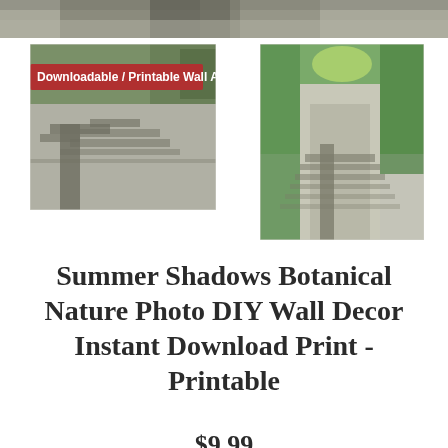[Figure (photo): Top cropped photo of a tree shadow on a driveway/road, partially visible at the top of the page]
[Figure (photo): Thumbnail photo with red banner 'Downloadable / Printable Wall Art' showing a dark tree shadow on a paved driveway]
[Figure (photo): Thumbnail photo showing a green tree-lined road with a tree shadow in summer light]
Summer Shadows Botanical Nature Photo DIY Wall Decor Instant Download Print - Printable
$9.99